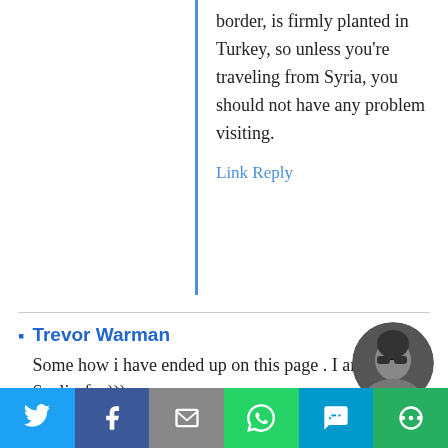border, is firmly planted in Turkey, so unless you're traveling from Syria, you should not have any problem visiting.
Link Reply
Trevor Warman
Some how i have ended up on this page . I am in Şanliurfa ;)))
Did the dude mean gay as in jolly?
[Figure (photo): Black and white circular avatar photo of a person wearing sunglasses]
[Figure (infographic): Social media sharing bar with Twitter, Facebook, Email, WhatsApp, SMS, and More buttons]